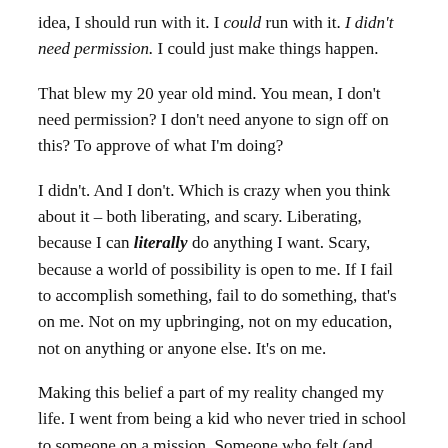idea, I should run with it. I could run with it. I didn't need permission. I could just make things happen.
That blew my 20 year old mind. You mean, I don't need permission? I don't need anyone to sign off on this? To approve of what I'm doing?
I didn't. And I don't. Which is crazy when you think about it – both liberating, and scary. Liberating, because I can literally do anything I want. Scary, because a world of possibility is open to me. If I fail to accomplish something, fail to do something, that's on me. Not on my upbringing, not on my education, not on anything or anyone else. It's on me.
Making this belief a part of my reality changed my life. I went from being a kid who never tried in school to someone on a mission. Someone who felt (and feels) like I could do anything.
This has led to an idealistic confidence and self assurance like I never imagined was possible. Pitch a successful entrepreneur